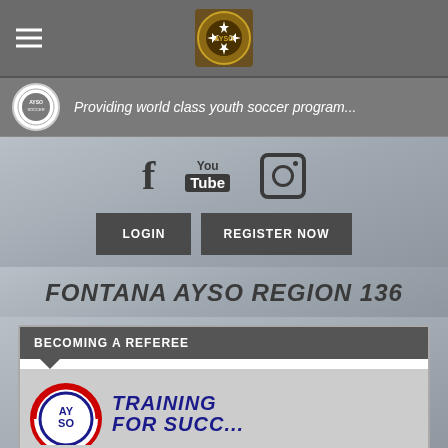[Figure (screenshot): Website screenshot of Fontana AYSO Region 136 page showing navigation bar, social icons, login/register buttons, region title, and a referee training card.]
Providing world class youth soccer program...
LOGIN   REGISTER NOW
FONTANA AYSO REGION 136
BECOMING A REFEREE
[Figure (logo): AYSO logo with TRAINING FOR SUCCESS text]